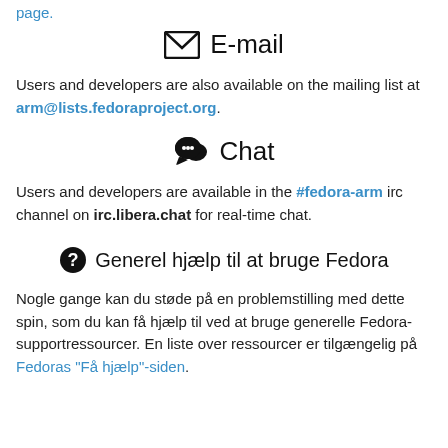page.
E-mail
Users and developers are also available on the mailing list at arm@lists.fedoraproject.org.
Chat
Users and developers are available in the #fedora-arm irc channel on irc.libera.chat for real-time chat.
Generel hjælp til at bruge Fedora
Nogle gange kan du støde på en problemstilling med dette spin, som du kan få hjælp til ved at bruge generelle Fedora-supportressourcer. En liste over ressourcer er tilgængelig på Fedoras "Få hjælp"-siden.